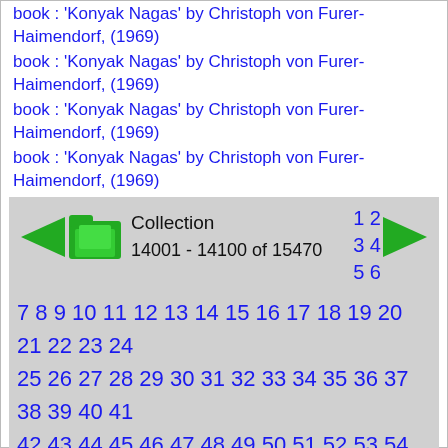book : 'Konyak Nagas' by Christoph von Furer-Haimendorf, (1969)
book : 'Konyak Nagas' by Christoph von Furer-Haimendorf, (1969)
book : 'Konyak Nagas' by Christoph von Furer-Haimendorf, (1969)
book : 'Konyak Nagas' by Christoph von Furer-Haimendorf, (1969)
Collection 14001 - 14100 of 15470
1 2 3 4 5 6 7 8 9 10 11 12 13 14 15 16 17 18 19 20 21 22 23 24 25 26 27 28 29 30 31 32 33 34 35 36 37 38 39 40 41 42 43 44 45 46 47 48 49 50 51 52 53 54 55 56 57 58 59 60 61 62 63 64 65 66 67 68 69 70 71 72 73 74 75 76 77 78 79 80 81 82 83 84 85 86 87 88 89 90 91 92 93 94 95 96 97 98 99 100 101 102 103 104 105 106 107 108 109 110 111 112 113 114 115 116 117 118